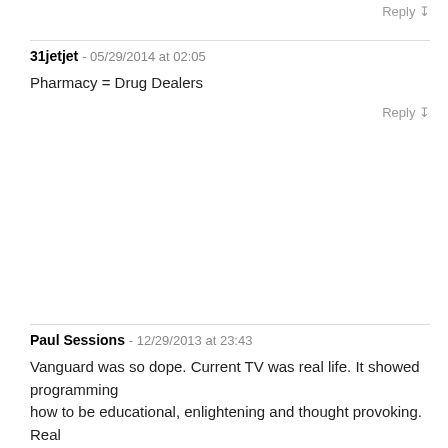Reply ↧
31jetjet - 05/29/2014 at 02:05
Pharmacy = Drug Dealers
Reply ↧
Paul Sessions - 12/29/2013 at 23:43
Vanguard was so dope. Current TV was real life. It showed programming how to be educational, enlightening and thought provoking. Real television, real journalism. Nothing like this heartless, artless, spineless filler fluff bull**** we're fed on cable television in the United States today. It brashly exposed the many hypocrisies and injustices in our system, and spurred critical thinking and